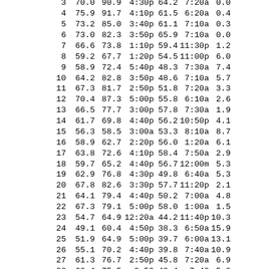| 3 | 70.0 | 90.9 | 4:30p | 64.2 | 7:20a | 0.0 |
| 4 | 75.9 | 91.7 | 4:10p | 61.5 | 6:20a | 0.4 |
| 5 | 73.2 | 85.0 | 3:40p | 61.1 | 7:10a | 0.3 |
| 6 | 73.0 | 82.3 | 3:50p | 65.9 | 7:10a | 0.0 |
| 7 | 66.6 | 73.8 | 1:10p | 59.4 | 11:30p | 1.2 |
| 8 | 59.2 | 67.7 | 1:20p | 54.5 | 11:00p | 6.0 |
| 9 | 58.9 | 72.4 | 5:40p | 48.3 | 7:30a | 7.4 |
| 10 | 64.2 | 82.8 | 3:50p | 48.6 | 7:10a | 5.7 |
| 11 | 67.3 | 81.7 | 2:50p | 51.8 | 7:20a | 3.3 |
| 12 | 70.4 | 87.3 | 5:00p | 55.8 | 6:10a | 2.6 |
| 13 | 66.5 | 77.7 | 3:00p | 57.8 | 7:30a | 1.9 |
| 14 | 61.7 | 69.8 | 4:40p | 56.2 | 10:50p | 4.1 |
| 15 | 56.3 | 58.5 | 3:00a | 53.3 | 8:10a | 8.7 |
| 16 | 58.9 | 62.7 | 2:20p | 56.0 | 1:20a | 6.1 |
| 17 | 63.8 | 72.6 | 4:10p | 58.4 | 7:50a | 2.9 |
| 18 | 59.7 | 65.2 | 4:40p | 56.7 | 12:00m | 5.3 |
| 19 | 62.9 | 76.8 | 4:30p | 49.8 | 6:40a | 5.3 |
| 20 | 67.8 | 82.6 | 3:30p | 57.7 | 11:20p | 2.1 |
| 21 | 64.1 | 79.4 | 4:40p | 50.2 | 7:00a | 4.8 |
| 22 | 67.3 | 79.1 | 5:00p | 58.0 | 1:00a | 1.5 |
| 23 | 54.7 | 64.9 | 12:20a | 44.2 | 11:40p | 10.3 |
| 24 | 49.1 | 60.4 | 4:50p | 38.3 | 6:50a | 15.9 |
| 25 | 51.9 | 64.9 | 5:00p | 39.7 | 6:00a | 13.1 |
| 26 | 55.1 | 70.2 | 4:40p | 39.8 | 7:40a | 10.9 |
| 27 | 61.3 | 76.7 | 2:50p | 45.8 | 7:20a | 6.9 |
| 28 | 60.4 | 75.5 | 2:50 | 40.4 | 7:40 | 5.0 |